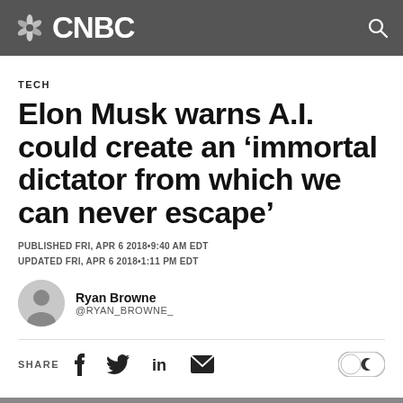CNBC
TECH
Elon Musk warns A.I. could create an ‘immortal dictator from which we can never escape’
PUBLISHED FRI, APR 6 2018•9:40 AM EDT
UPDATED FRI, APR 6 2018•1:11 PM EDT
Ryan Browne
@RYAN_BROWNE_
SHARE